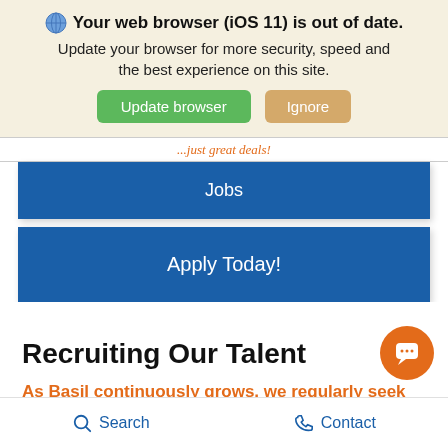🌐 Your web browser (iOS 11) is out of date. Update your browser for more security, speed and the best experience on this site. [Update browser] [Ignore]
...just great deals!
Jobs
Apply Today!
Recruiting Our Talent
As Basil continuously grows, we regularly seek new talent to bring board
Search   Contact